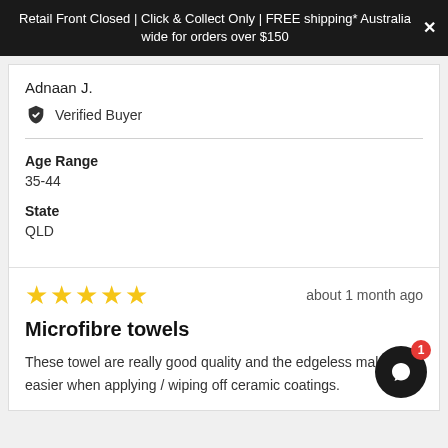Retail Front Closed | Click & Collect Only | FREE shipping* Australia wide for orders over $150
Adnaan J.
Verified Buyer
Age Range
35-44
State
QLD
about 1 month ago
Microfibre towels
These towel are really good quality and the edgeless make easier when applying / wiping off ceramic coatings.